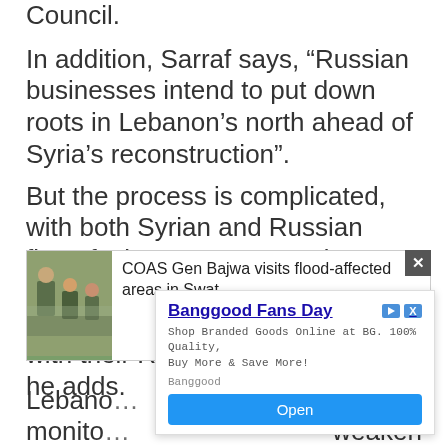Council.
In addition, Sarraf says, “Russian businesses intend to put down roots in Lebanon’s north ahead of Syria’s reconstruction”.
But the process is complicated, with both Syrian and Russian firms facing European and American sanctions that have left Lebanese banks “reluctant to deal with their Russian counterparts”, he adds.
[Figure (screenshot): News article thumbnail with image of military personnel visiting flood-affected areas, headline: COAS Gen Bajwa visits flood-affected areas in Swat]
[Figure (screenshot): Advertisement overlay: Banggood Fans Day - Shop Branded Goods Online at BG. 100% Quality, Buy More & Save More! with Open button]
Lebanon… monitor… weaken